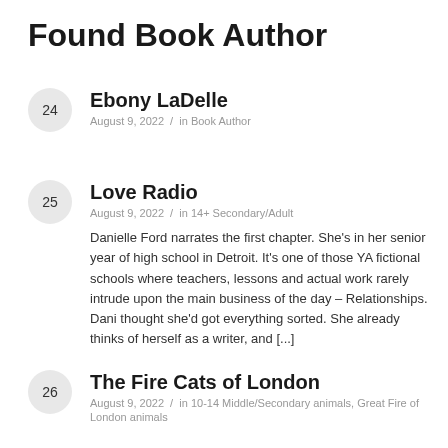Found Book Author
Ebony LaDelle
August 9, 2022  /  in Book Author
Love Radio
August 9, 2022  /  in 14+ Secondary/Adult
Danielle Ford narrates the first chapter. She's in her senior year of high school in Detroit. It's one of those YA fictional schools where teachers, lessons and actual work rarely intrude upon the main business of the day – Relationships. Dani thought she'd got everything sorted. She already thinks of herself as a writer, and [...]
The Fire Cats of London
August 9, 2022  /  in 10-14 Middle/Secondary animals, Great Fire of London animals